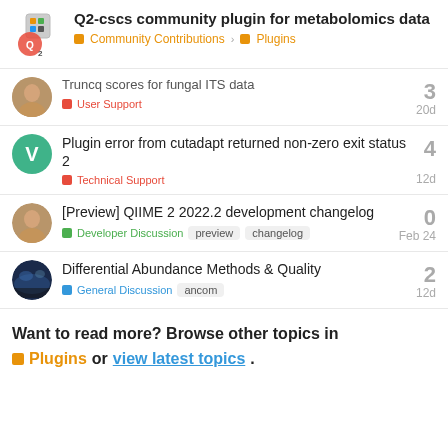Q2-cscs community plugin for metabolomics data — Community Contributions > Plugins
Truncq scores for fungal ITS data — User Support — 3 — 20d
Plugin error from cutadapt returned non-zero exit status 2 — Technical Support — 4 — 12d
[Preview] QIIME 2 2022.2 development changelog — Developer Discussion — preview — changelog — 0 — Feb 24
Differential Abundance Methods & Quality — General Discussion — ancom — 2 — 12d
Want to read more? Browse other topics in Plugins or view latest topics.